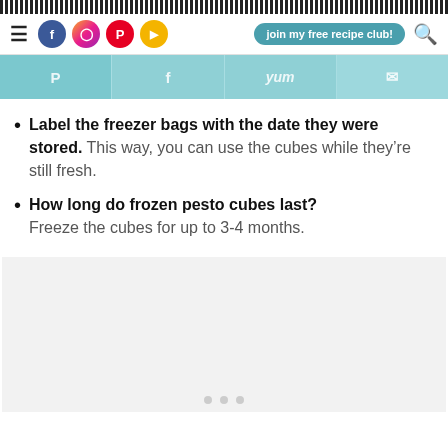navigation bar with social icons and recipe club button
[Figure (screenshot): Share bar with Pinterest, Facebook, Yummly, and email icons on teal background]
Label the freezer bags with the date they were stored. This way, you can use the cubes while they're still fresh.
How long do frozen pesto cubes last? Freeze the cubes for up to 3-4 months.
[Figure (photo): Image placeholder area with carousel dots at bottom]